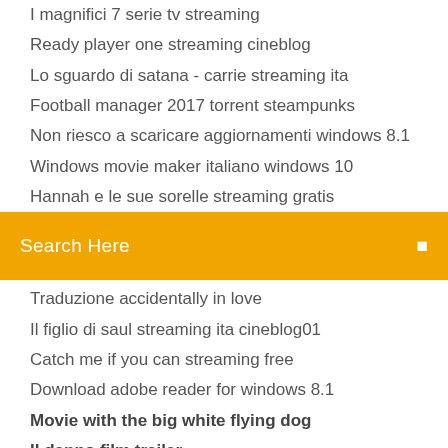I magnifici 7 serie tv streaming
Ready player one streaming cineblog
Lo sguardo di satana - carrie streaming ita
Football manager 2017 torrent steampunks
Non riesco a scaricare aggiornamenti windows 8.1
Windows movie maker italiano windows 10
Hannah e le sue sorelle streaming gratis
[Figure (screenshot): Orange search bar with text 'Search Here' and a small icon on the right]
Traduzione accidentally in love
Il figlio di saul streaming ita cineblog01
Catch me if you can streaming free
Download adobe reader for windows 8.1
Movie with the big white flying dog
Il danno film trailer
25/06/1993 · Directed by Michael Lessac. With Kathleen Turner, Tommy Lee Jones, Asha Menina, Shiloh Strong. A widow tries to